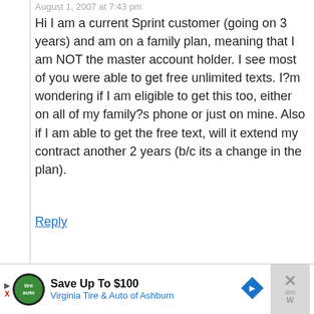August 1, 2007 at 7:43 pm
Hi I am a current Sprint customer (going on 3 years) and am on a family plan, meaning that I am NOT the master account holder. I see most of you were able to get free unlimited texts. I?m wondering if I am eligible to get this too, either on all of my family?s phone or just on mine. Also if I am able to get the free text, will it extend my contract another 2 years (b/c its a change in the plan).
Reply
Jessica says
August 9, 2007 at 5:10 am
I just signed up online for this deal, using
[Figure (infographic): Advertisement banner: Save Up To $100 Virginia Tire & Auto of Ashburn, with play button, logo, and navigation icon. Close button on right side.]